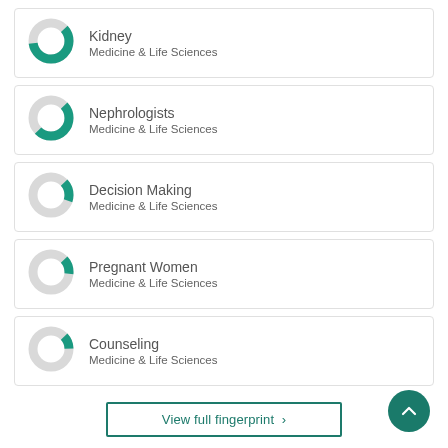[Figure (donut-chart): Donut chart showing partial fill in teal for Kidney - Medicine & Life Sciences]
Kidney
Medicine & Life Sciences
[Figure (donut-chart): Donut chart showing partial fill in teal for Nephrologists - Medicine & Life Sciences]
Nephrologists
Medicine & Life Sciences
[Figure (donut-chart): Donut chart showing small partial fill in teal for Decision Making - Medicine & Life Sciences]
Decision Making
Medicine & Life Sciences
[Figure (donut-chart): Donut chart showing small partial fill in teal for Pregnant Women - Medicine & Life Sciences]
Pregnant Women
Medicine & Life Sciences
[Figure (donut-chart): Donut chart showing small partial fill in teal for Counseling - Medicine & Life Sciences]
Counseling
Medicine & Life Sciences
View full fingerprint ›